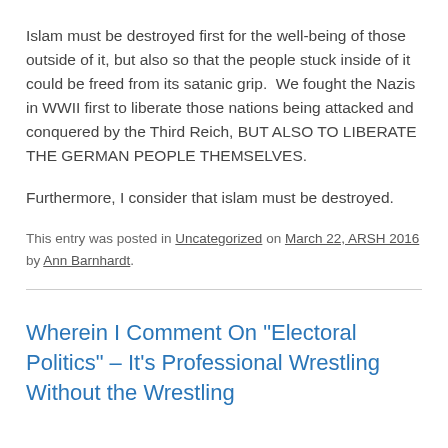Islam must be destroyed first for the well-being of those outside of it, but also so that the people stuck inside of it could be freed from its satanic grip.  We fought the Nazis in WWII first to liberate those nations being attacked and conquered by the Third Reich, BUT ALSO TO LIBERATE THE GERMAN PEOPLE THEMSELVES.
Furthermore, I consider that islam must be destroyed.
This entry was posted in Uncategorized on March 22, ARSH 2016 by Ann Barnhardt.
Wherein I Comment On "Electoral Politics" – It's Professional Wrestling Without the Wrestling